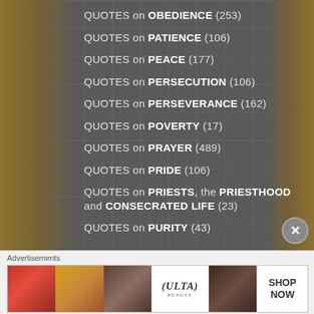QUOTES on OBEDIENCE (253)
QUOTES on PATIENCE (106)
QUOTES on PEACE (177)
QUOTES on PERSECUTION (106)
QUOTES on PERSEVERANCE (162)
QUOTES on POVERTY (17)
QUOTES on PRAYER (489)
QUOTES on PRIDE (106)
QUOTES on PRIESTS, the PRIESTHOOD and CONSECRATED LIFE (23)
QUOTES on PURITY (43)
[Figure (screenshot): Advertisement banner for ULTA Beauty showing makeup/cosmetics images with 'SHOP NOW' call to action]
Advertisements